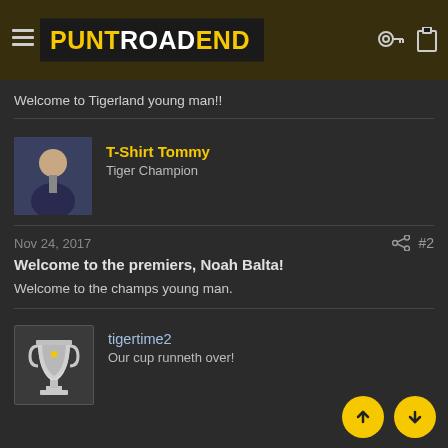PUNT ROAD END
Welcome to Tigerland young man!!
T-Shirt Tommy
Tiger Champion
Nov 24, 2017
#2
Welcome to the premiers, Noah Balta!
Welcome to the champs young man.
tigertime2
Our cup runneth over!